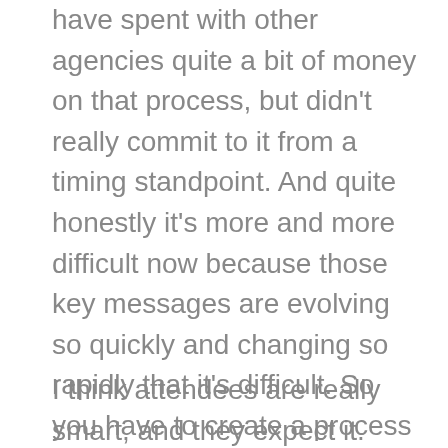have spent with other agencies quite a bit of money on that process, but didn't really commit to it from a timing standpoint. And quite honestly it's more and more difficult now because those key messages are evolving so quickly and changing so rapidly that it's difficult. So you have to create a process that honors that complexity that corporate leaders are under.
I think attendees are really smart, and they expect it. They're listening really hard, and it's